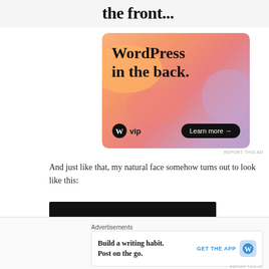the front...
[Figure (illustration): WordPress VIP advertisement banner with colorful gradient background (orange, pink, lavender blobs). Text reads 'WordPress in the back.' with WordPress VIP logo and 'Learn more →' button.]
And just like that, my natural face somehow turns out to look like this:
[Figure (photo): Dark/black image block, appears to be a photo with very dark exposure.]
[Figure (illustration): Bottom advertisement bar: 'Advertisements' label, ad reading 'Build a writing habit. Post on the go.' with 'GET THE APP' link and WordPress logo icon.]